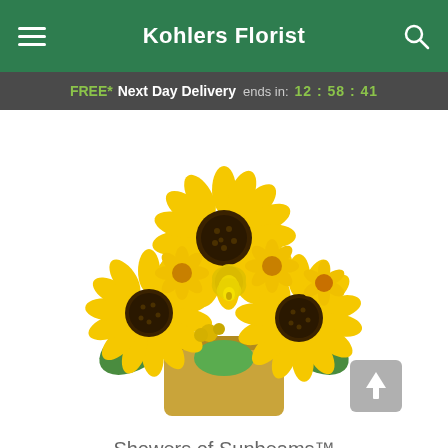Kohlers Florist
FREE* Next Day Delivery ends in: 12:58:41
[Figure (photo): Arrangement of sunflowers, yellow roses, and other yellow flowers in a gold square vase — product photo for Showers of Sunbeams]
Showers of Sunbeams™
Pick your perfect gift: